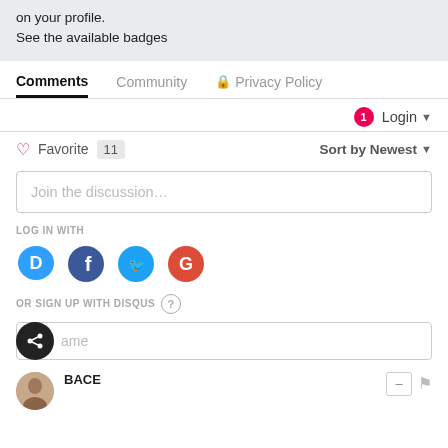on your profile.
See the available badges
Comments	Community	🔒 Privacy Policy
🔔1  Login ▼
♡ Favorite  11	Sort by Newest ▼
Join the discussion...
LOG IN WITH
[Figure (infographic): Social login icons: Disqus (D, blue speech bubble), Facebook (F, dark blue circle), Twitter (bird, light blue circle), Google (G, red circle)]
OR SIGN UP WITH DISQUS ?
Name (input field)
BACE (commenter name with avatar, minus and flag buttons)